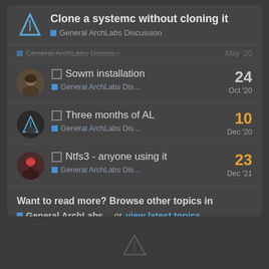Clone a systemc without cloning it — General ArchLabs Discussion
General ArchLabs Discus... May '20
Sowm installation — General ArchLabs Dis... — 24 — Oct '20
Three months of AL — General ArchLabs Dis... — 10 — Dec '20
Ntfs3 - anyone using it — General ArchLabs Dis... — 23 — Dec '21
Want to read more? Browse other topics in General ArchLabs... or view latest topics.